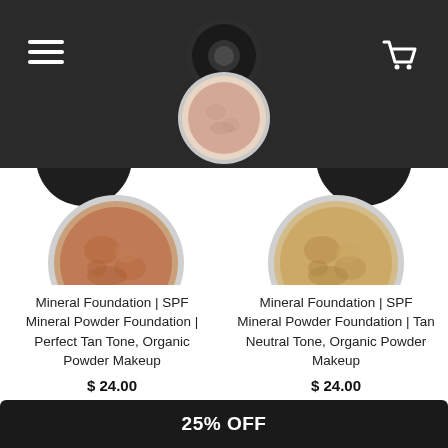[Figure (screenshot): E-commerce website header with hamburger menu icon on left, shopping cart icon on right, and a loose powder mineral foundation product (compact lid and open jar with peach-toned powder) centered in a dark gray/charcoal navigation bar]
[Figure (photo): Mineral foundation loose powder product in dark circular compact container with terracotta/tan powder visible, left product card]
Mineral Foundation | SPF Mineral Powder Foundation | Perfect Tan Tone, Organic Powder Makeup
$ 24.00
[Figure (photo): Mineral foundation loose powder product in dark circular compact container with golden/beige powder visible, right product card]
Mineral Foundation | SPF Mineral Powder Foundation | Tan Neutral Tone, Organic Powder Makeup
$ 24.00
25% OFF